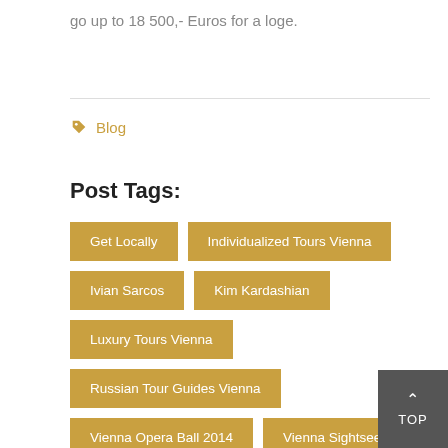go up to 18 500,- Euros for a loge.
Blog
Post Tags:
Get Locally
Individualized Tours Vienna
Ivian Sarcos
Kim Kardashian
Luxury Tours Vienna
Russian Tour Guides Vienna
Vienna Opera Ball 2014
Vienna Sightseeing